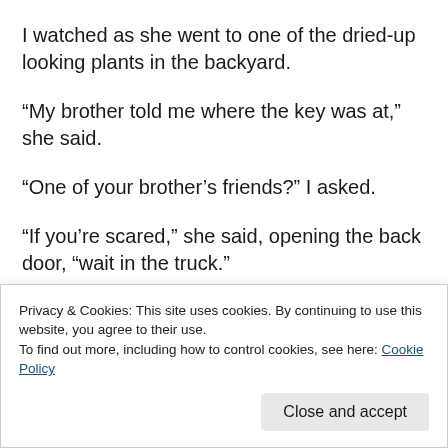I watched as she went to one of the dried-up looking plants in the backyard.
“My brother told me where the key was at,” she said.
“One of your brother’s friends?” I asked.
“If you’re scared,” she said, opening the back door, “wait in the truck.”
“I’m not scared.”
Privacy & Cookies: This site uses cookies. By continuing to use this website, you agree to their use. To find out more, including how to control cookies, see here: Cookie Policy
Close and accept